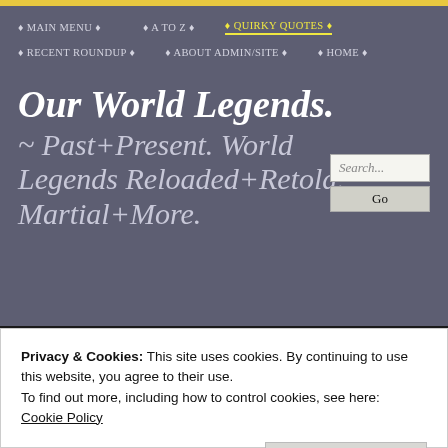♦ MAIN MENU ♦   ♦ A TO Z ♦   ♦ QUIRKY QUOTES ♦
♦ RECENT ROUNDUP ♦   ♦ ABOUT ADMIN/SITE ♦   ♦ HOME ♦
Our World Legends.
~ Past+Present. World Legends Reloaded+Retold. Martial+More.
Privacy & Cookies: This site uses cookies. By continuing to use this website, you agree to their use.
To find out more, including how to control cookies, see here:
Cookie Policy
Close and accept